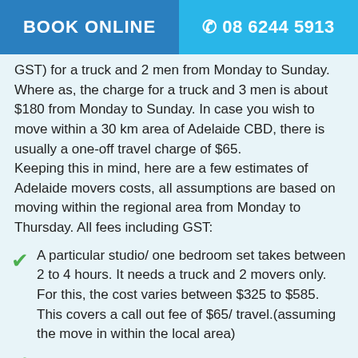BOOK ONLINE | 08 6244 5913
GST) for a truck and 2 men from Monday to Sunday. Where as, the charge for a truck and 3 men is about $180 from Monday to Sunday. In case you wish to move within a 30 km area of Adelaide CBD, there is usually a one-off travel charge of $65. Keeping this in mind, here are a few estimates of Adelaide movers costs, all assumptions are based on moving within the regional area from Monday to Thursday. All fees including GST:
A particular studio/ one bedroom set takes between 2 to 4 hours. It needs a truck and 2 movers only. For this, the cost varies between $325 to $585. This covers a call out fee of $65/ travel.(assuming the move in within the local area)